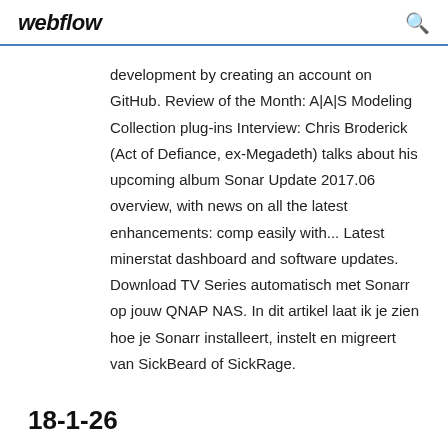webflow
development by creating an account on GitHub. Review of the Month: A|A|S Modeling Collection plug-ins Interview: Chris Broderick (Act of Defiance, ex-Megadeth) talks about his upcoming album Sonar Update 2017.06 overview, with news on all the latest enhancements: comp easily with... Latest minerstat dashboard and software updates. Download TV Series automatisch met Sonarr op jouw QNAP NAS. In dit artikel laat ik je zien hoe je Sonarr installeert, instelt en migreert van SickBeard of SickRage.
18-1-26